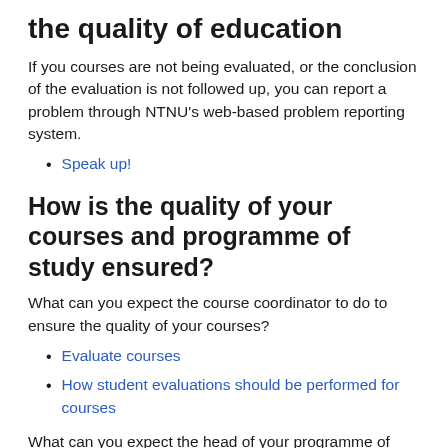the quality of education
If you courses are not being evaluated, or the conclusion of the evaluation is not followed up, you can report a problem through NTNU's web-based problem reporting system.
Speak up!
How is the quality of your courses and programme of study ensured?
What can you expect the course coordinator to do to ensure the quality of your courses?
Evaluate courses
How student evaluations should be performed for courses
What can you expect the head of your programme of study to do to ensure the quality of your programme